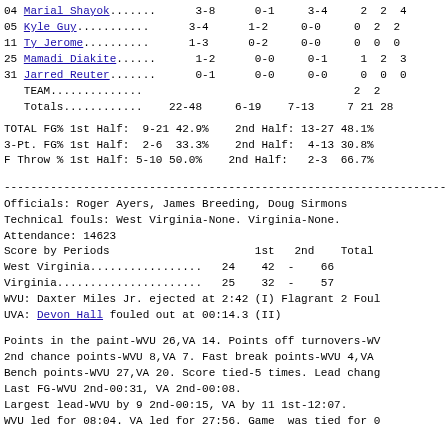| # | Player | FG | 3PT | FT | OF | TO | REB |
| --- | --- | --- | --- | --- | --- | --- | --- |
| 04 | Marial Shayok | 3-8 | 0-1 | 3-4 | 2 | 2 | 4 |
| 05 | Kyle Guy | 3-4 | 1-2 | 0-0 | 0 | 2 | 2 |
| 11 | Ty Jerome | 1-3 | 0-2 | 0-0 | 0 | 0 | 0 |
| 25 | Mamadi Diakite | 1-2 | 0-0 | 0-1 | 1 | 2 | 3 |
| 31 | Jarred Reuter | 0-1 | 0-0 | 0-0 | 0 | 0 | 0 |
|  | TEAM |  |  |  |  | 2 | 2 |
|  | Totals | 22-48 | 6-19 | 7-13 | 7 | 21 | 28 |
TOTAL FG% 1st Half: 9-21 42.9%   2nd Half: 13-27 48.1%
3-Pt. FG% 1st Half: 2-6  33.3%   2nd Half:  4-13 30.8%
F Throw % 1st Half: 5-10 50.0%   2nd Half:  2-3  66.7%
Officials: Roger Ayers, James Breeding, Doug Sirmons
Technical fouls: West Virginia-None. Virginia-None.
Attendance: 14623
| Score by Periods | 1st | 2nd | Total |
| --- | --- | --- | --- |
| West Virginia.................. | 24 | 42 | - | 66 |
| Virginia...................... | 25 | 32 | - | 57 |
WVU: Daxter Miles Jr. ejected at 2:42 (I) Flagrant 2 Foul
UVA: Devon Hall fouled out at 00:14.3 (II)
Points in the paint-WVU 26,VA 14. Points off turnovers-WV
2nd chance points-WVU 8,VA 7. Fast break points-WVU 4,VA
Bench points-WVU 27,VA 20. Score tied-5 times. Lead chang
Last FG-WVU 2nd-00:31, VA 2nd-00:08.
Largest lead-WVU by 9 2nd-00:15, VA by 11 1st-12:07.
WVU led for 08:04. VA led for 27:56. Game  was tied for 0